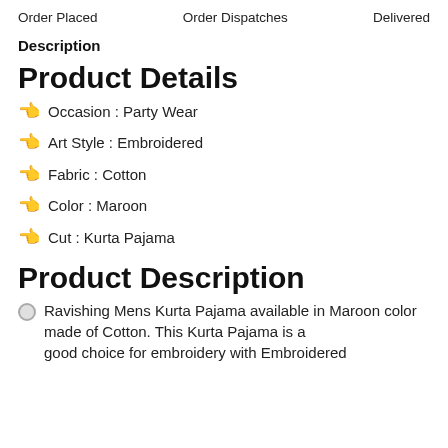Order Placed    Order Dispatches    Delivered
Description
Product Details
Occasion : Party Wear
Art Style : Embroidered
Fabric : Cotton
Color : Maroon
Cut : Kurta Pajama
Product Description
Ravishing Mens Kurta Pajama available in Maroon color made of Cotton. This Kurta Pajama is a good choice for embroidery with Embroidered...